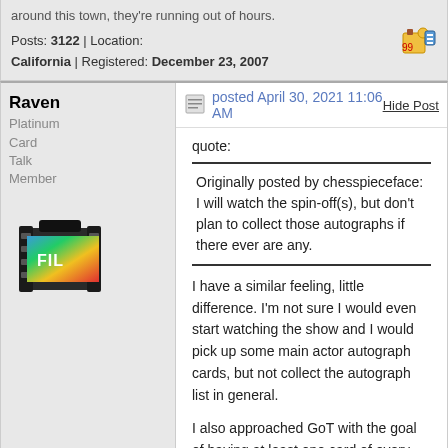around this town, they're running out of hours.
Posts: 3122 | Location: California | Registered: December 23, 2007
Raven
Platinum Card Talk Member
posted April 30, 2021 11:06 AM
Hide Post
quote:
Originally posted by chesspieceface:
I will watch the spin-off(s), but don't plan to collect those autographs if there ever are any.
I have a similar feeling, little difference. I'm not sure I would even start watching the show and I would pick up some main actor autograph cards, but not collect the autograph list in general.

I also approached GoT with the goal of having at least one card of every signer. I'm not sure RA could dig up 10 new signers for Iron and, besides getting the unlikely Cunningham and Pascal, who would be worth buying? There are quite a few repeat signers who have still not come out in all designs and those darn inscriptions, which are priced higher than what they are worth.

It's been fun following this one title in cards for a